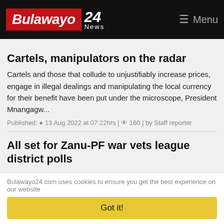Bulawayo 24 News | Menu
Cartels, manipulators on the radar
Cartels and those that collude to unjustifiably increase prices, engage in illegal dealings and manipulating the local currency for their benefit have been put under the microscope, President Mnangagw...
Published: 13 Aug 2022 at 07:22hrs | 160 | by Staff reporter
All set for Zanu-PF war vets league district polls
All is set for the district elections of the Zanu-PF War Veterans League being held today across the country, with only Masvingo Province postponing their polls until
Bulawayo24.com uses cookies to ensure you get the best experience on our website
Got it!